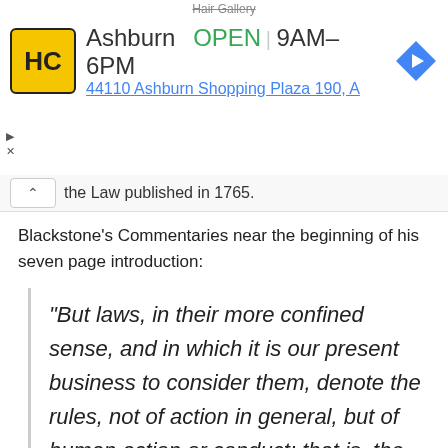[Figure (screenshot): Advertisement banner showing HC (Hair Cuttery) logo, Ashburn location, OPEN status, hours 9AM-6PM, and address 44110 Ashburn Shopping Plaza 190, A, with a navigation/map icon]
the Law published in 1765.
Blackstone's Commentaries near the beginning of his seven page introduction:
“But laws, in their more confined sense, and in which it is our present business to consider them, denote the rules, not of action in general, but of human action or conduct: that is, the precepts by which man, the noblest of all sublunary beings, a creature endowed with both reason and